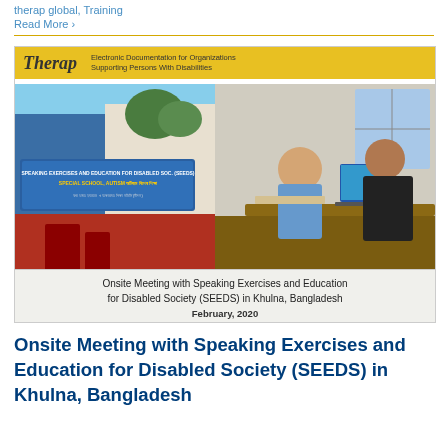therap global, Training
Read More ›
[Figure (photo): Composite image showing two photos side by side with Therap branding. Left: exterior of a building with a blue sign reading 'Speaking Exercises and Education for Disabled Society (SEEDS) Special School Autism'. Right: two men in an office setting, one showing something on a laptop. Yellow banner above with Therap logo and tagline 'Electronic Documentation for Organizations Supporting Persons With Disabilities'. Caption below: 'Onsite Meeting with Speaking Exercises and Education for Disabled Society (SEEDS) in Khulna, Bangladesh. February, 2020']
Onsite Meeting with Speaking Exercises and Education for Disabled Society (SEEDS) in Khulna, Bangladesh